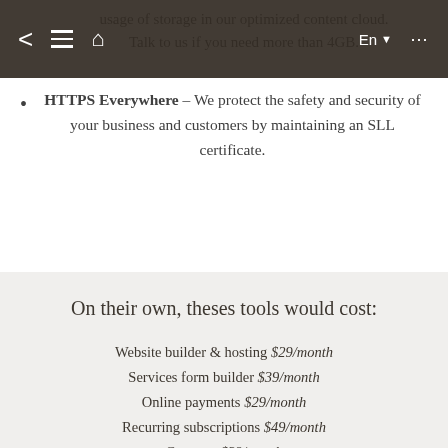< ≡ 🏠  En ▾ ...
usage of storage in our optimized content cloud. Talk to us if you need more than 4GB.
HTTPS Everywhere – We protect the safety and security of your business and customers by maintaining an SLL certificate.
On their own, theses tools would cost:
Website builder & hosting $29/month
Services form builder $39/month
Online payments $29/month
Recurring subscriptions $49/month
Coupons $29/month
Live chat & CRM $29/month
Orders manager $79/month